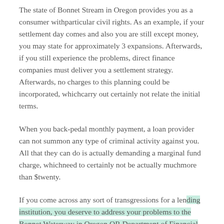The state of Bonnet Stream in Oregon provides you as a consumer withparticular civil rights. As an example, if your settlement day comes and also you are still except money, you may state for approximately 3 expansions. Afterwards, if you still experience the problems, direct finance companies must deliver you a settlement strategy. Afterwards, no charges to this planning could be incorporated, whichcarry out certainly not relate the initial terms.
When you back-pedal monthly payment, a loan provider can not summon any type of criminal activity against you. All that they can do is actually demanding a marginal fund charge, whichneed to certainly not be actually muchmore than $twenty.
If you come across any sort of transgressions for a lending institution, you deserve to address your problems to the Bonnet Waterway in Oregon OR Department of Financial...